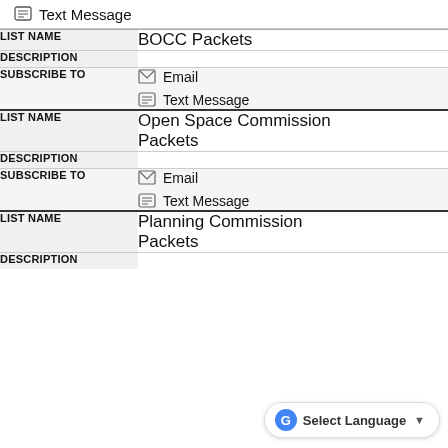Text Message
| FIELD | VALUE |
| --- | --- |
| LIST NAME | BOCC Packets |
| DESCRIPTION |  |
| SUBSCRIBE TO | Email
Text Message |
| LIST NAME | Open Space Commission Packets |
| DESCRIPTION |  |
| SUBSCRIBE TO | Email
Text Message |
| LIST NAME | Planning Commission Packets |
| DESCRIPTION |  |